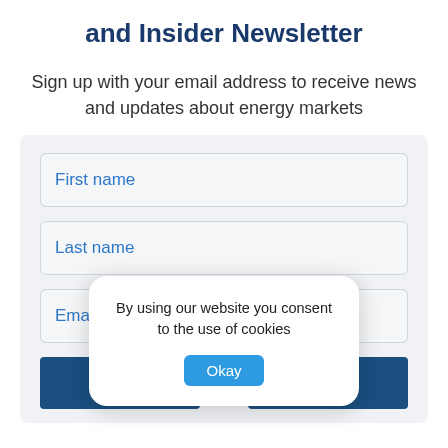and Insider Newsletter
Sign up with your email address to receive news and updates about energy markets
[Figure (screenshot): Web form with three input fields labeled 'First name', 'Last name', and 'Email address', with two blue buttons at the bottom, and a cookie consent popup overlaid showing 'By using our website you consent to the use of cookies' with an 'Okay' button.]